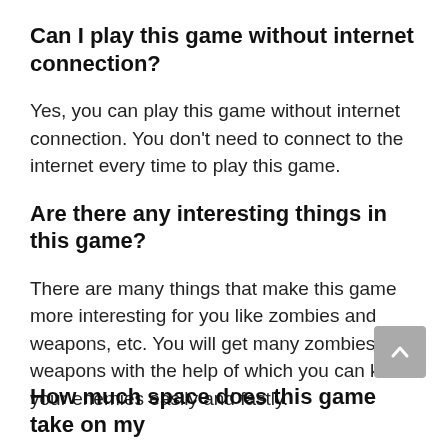Can I play this game without internet connection?
Yes, you can play this game without internet connection. You don't need to connect to the internet every time to play this game.
Are there any interesting things in this game?
There are many things that make this game more interesting for you like zombies and weapons, etc. You will get many zombies and weapons with the help of which you can kill your enemies easily and fastly.
How much space does this game take on my